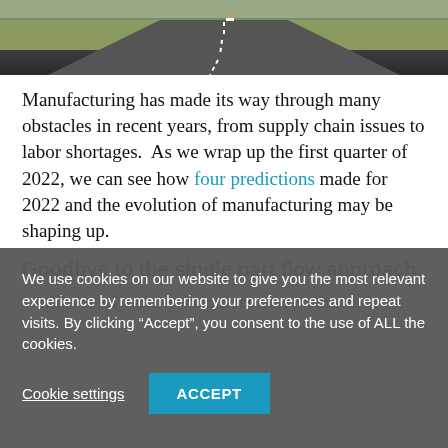[Figure (photo): Aerial view of a road stretching into the distance with a traffic cone, flanked by fields and sky]
Manufacturing has made its way through many obstacles in recent years, from supply chain issues to labor shortages.  As we wrap up the first quarter of 2022, we can see how four predictions made for 2022 and the evolution of manufacturing may be shaping up.
Goodbye to the single part flow approach
Until recently, many manufacturers with single product...
We use cookies on our website to give you the most relevant experience by remembering your preferences and repeat visits. By clicking “Accept”, you consent to the use of ALL the cookies.
Cookie settings
ACCEPT